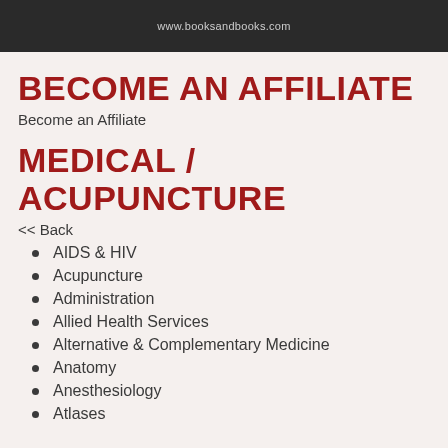[Figure (photo): Dark photo bar with website text www.booksandbooks.com]
BECOME AN AFFILIATE
Become an Affiliate
MEDICAL / ACUPUNCTURE
<< Back
AIDS & HIV
Acupuncture
Administration
Allied Health Services
Alternative & Complementary Medicine
Anatomy
Anesthesiology
Atlases